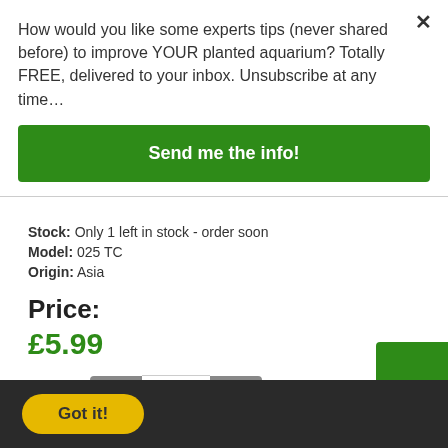How would you like some experts tips (never shared before) to improve YOUR planted aquarium? Totally FREE, delivered to your inbox. Unsubscribe at any time…
Send me the info!
Stock: Only 1 left in stock - order soon
Model: 025 TC
Origin: Asia
Price:
£5.99
Qty: 1
Got it!